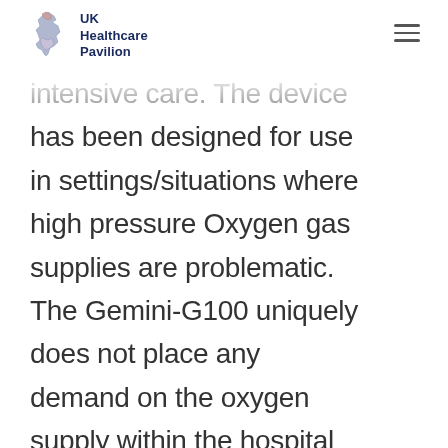UK Healthcare Pavilion
intensive care. The device has been designed for use in settings/situations where high pressure Oxygen gas supplies are problematic. The Gemini-G100 uniquely does not place any demand on the oxygen supply within the hospital as it only requires mains electrical power. For hospitals, it minimises reliance and disruption of